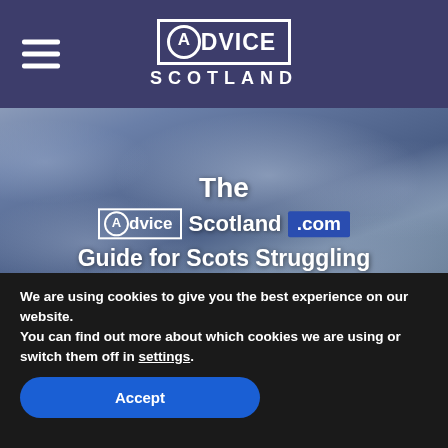Advice Scotland
[Figure (photo): Hero image of a cloudy sky with text overlay: 'The AdviceScotland.com Guide for Scots Struggling with Problem Debt' and an 'Ask us' button in the bottom right corner.]
We are using cookies to give you the best experience on our website.
You can find out more about which cookies we are using or switch them off in settings.
Accept